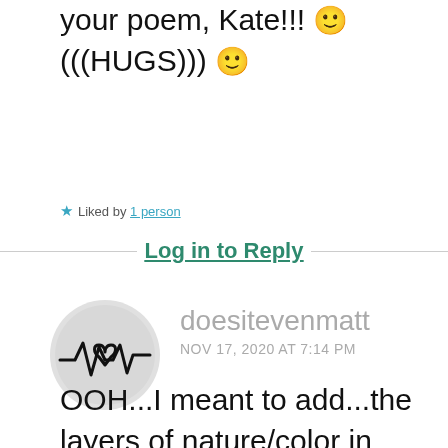your poem, Kate!!! 🙂 (((HUGS))) 🙂
★ Liked by 1 person
Log in to Reply
[Figure (illustration): Circular avatar with a heartbeat line and heart icon on gray background]
doesitevenmatt
NOV 17, 2020 AT 7:14 PM
OOH...I meant to add...the layers of nature/color in your